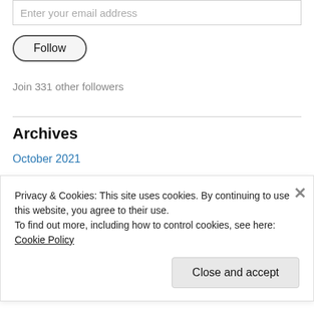Enter your email address
Follow
Join 331 other followers
Archives
October 2021
September 2020
April 2020
March 2020
Privacy & Cookies: This site uses cookies. By continuing to use this website, you agree to their use. To find out more, including how to control cookies, see here: Cookie Policy
Close and accept